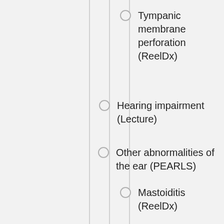Tympanic membrane perforation (ReelDx)
Hearing impairment (Lecture)
Other abnormalities of the ear (PEARLS)
Mastoiditis (ReelDx)
Meniere disease (Lecture)